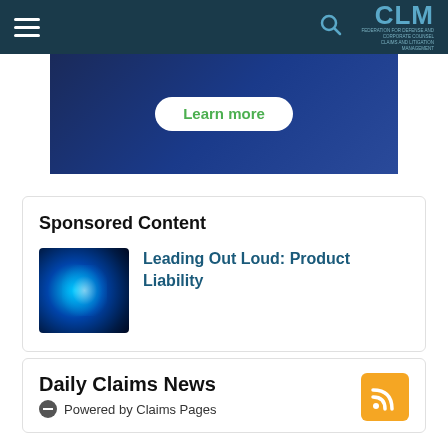CLM
[Figure (illustration): Dark blue banner with a 'Learn more' button in white rounded pill with green text]
Sponsored Content
[Figure (illustration): Glowing blue digital globe with light burst, sponsored content thumbnail]
Leading Out Loud: Product Liability
Daily Claims News
Powered by Claims Pages
[Figure (illustration): Orange RSS feed icon]